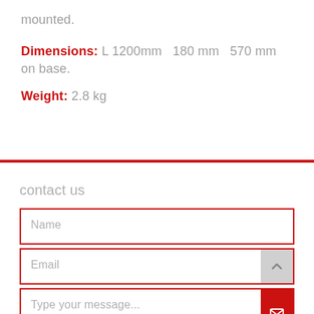mounted.
Dimensions: L 1200mm  180 mm  570 mm on base.
Weight: 2.8 kg
contact us
Name
Email
Type your message...